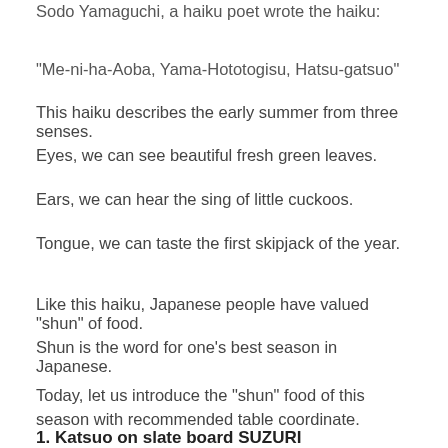Sodo Yamaguchi, a haiku poet wrote the haiku:
"Me-ni-ha-Aoba, Yama-Hototogisu, Hatsu-gatsuo"
This haiku describes the early summer from three senses.
Eyes, we can see beautiful fresh green leaves.
Ears, we can hear the sing of little cuckoos.
Tongue, we can taste the first skipjack of the year.
Like this haiku, Japanese people have valued "shun" of food.
Shun is the word for one's best season in Japanese.
Today, let us introduce the "shun" food of this season with recommended table coordinate.
1. Katsuo on slate board SUZURI